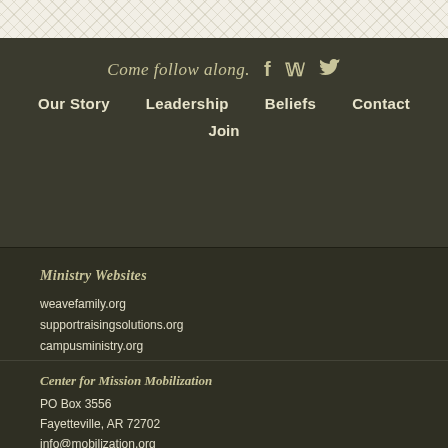Come follow along.
Our Story
Leadership
Beliefs
Contact
Join
Ministry Websites
weavefamily.org
supportraisingsolutions.org
campusministry.org
cmmpress.org
Center for Mission Mobilization
PO Box 3556
Fayetteville, AR 72702
info@mobilization.org